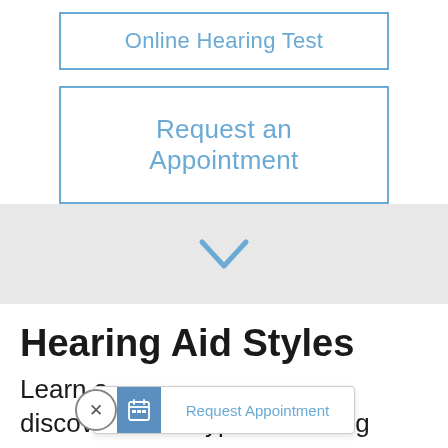[Figure (screenshot): Blue-bordered button: 'Online Hearing Test']
[Figure (screenshot): Blue-bordered button: 'Request an Appointment']
[Figure (infographic): Grey band with a blue chevron/down-arrow icon in the center]
Hearing Aid Styles
Learn a... discover which type of hearing
[Figure (screenshot): Floating widget with close (x) button, calendar icon, and 'Request Appointment' text link]